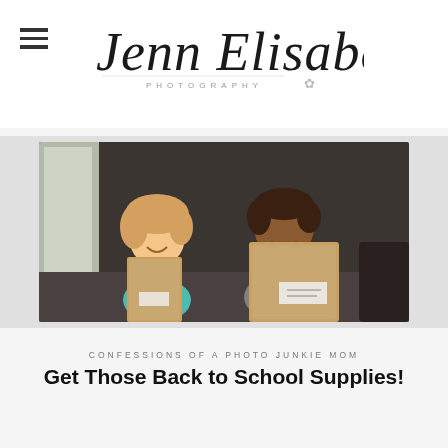[Figure (logo): Jenn Elisabeth Photography script logo with hamburger menu icon to the left]
[Figure (photo): Two smiling children holding large brown paper bags, likely school supply bags, standing indoors]
CONFESSIONS OF A PHOTO JUNKIE MOM
Get Those Back to School Supplies!